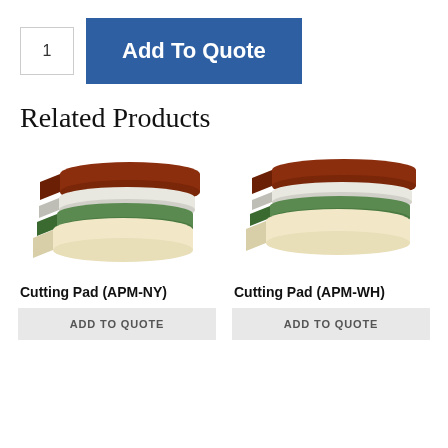1
Add To Quote
Related Products
[Figure (photo): Stack of colored cutting pads (brown, white, green, cream) viewed at an angle]
Cutting Pad (APM-NY)
ADD TO QUOTE
[Figure (photo): Stack of colored cutting pads (brown, white, green, cream) viewed at an angle]
Cutting Pad (APM-WH)
ADD TO QUOTE